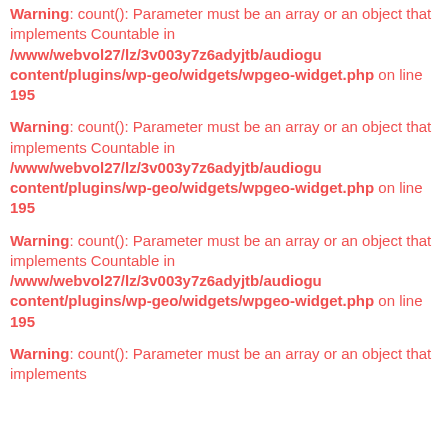Warning: count(): Parameter must be an array or an object that implements Countable in /www/webvol27/lz/3v003y7z6adyjtb/audiogu content/plugins/wp-geo/widgets/wpgeo-widget.php on line 195
Warning: count(): Parameter must be an array or an object that implements Countable in /www/webvol27/lz/3v003y7z6adyjtb/audiogu content/plugins/wp-geo/widgets/wpgeo-widget.php on line 195
Warning: count(): Parameter must be an array or an object that implements Countable in /www/webvol27/lz/3v003y7z6adyjtb/audiogu content/plugins/wp-geo/widgets/wpgeo-widget.php on line 195
Warning: count(): Parameter must be an array or an object that implements Countable in /www/webvol27/lz/3v003y7z6adyjtb/audiogu array or an object that implements